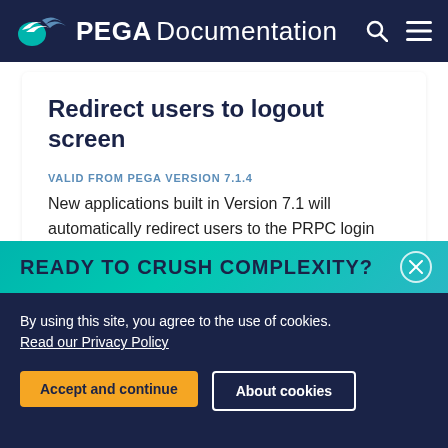PEGA Documentation
Redirect users to logout screen
VALID FROM PEGA VERSION 7.1.4
New applications built in Version 7.1 will automatically redirect users to the PRPC login page upon logout.
READY TO CRUSH COMPLEXITY?
By using this site, you agree to the use of cookies. Read our Privacy Policy
Accept and continue
About cookies